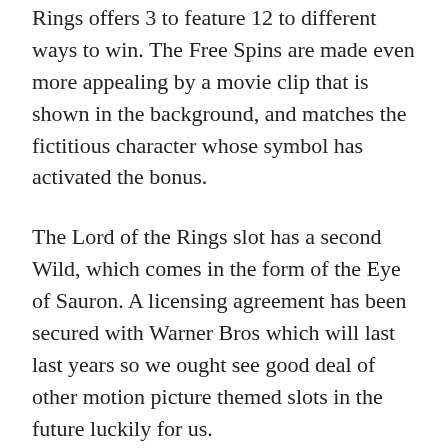Rings offers 3 to feature 12 to different ways to win. The Free Spins are made even more appealing by a movie clip that is shown in the background, and matches the fictitious character whose symbol has activated the bonus.
The Lord of the Rings slot has a second Wild, which comes in the form of the Eye of Sauron. A licensing agreement has been secured with Warner Bros which will last last years so we ought see good deal of other motion picture themed slots in the future luckily for us.
More information, exciting promotions, LOTR Bonuses, Free Spins Offers and casinos offering The Lord of the Rings Slots game can be found here at.